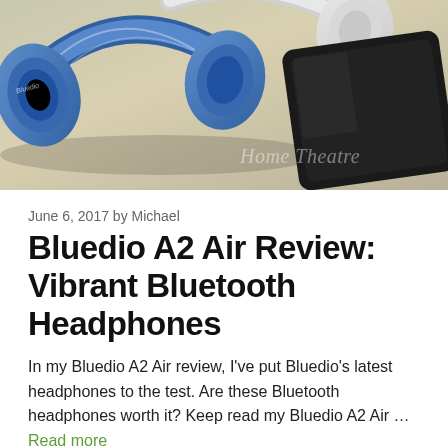[Figure (photo): Photo of blue-and-white Bluedio A2 Air headphones lying on a beige/tan surface next to a black smartphone. A watermark reading 'Home Theatre' appears in the lower right of the image.]
June 6, 2017 by Michael
Bluedio A2 Air Review: Vibrant Bluetooth Headphones
In my Bluedio A2 Air review, I've put Bluedio's latest headphones to the test. Are these Bluetooth headphones worth it? Keep read my Bluedio A2 Air … Read more